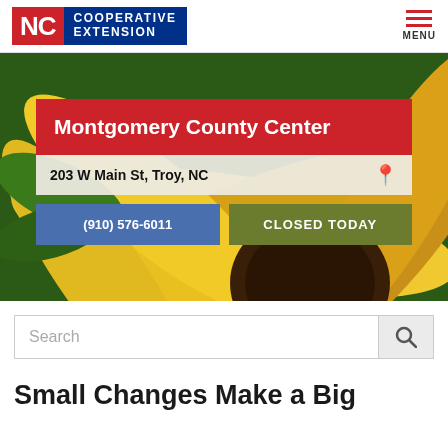[Figure (logo): NC Cooperative Extension logo with red NC block and blue text block showing COOPERATIVE EXTENSION]
[Figure (photo): Close-up photograph of yellow sunflower petals with green leaves, used as hero background image]
Montgomery County Center
203 W Main St, Troy, NC
(910) 576-6011
CLOSED TODAY
Search
Small Changes Make a Big